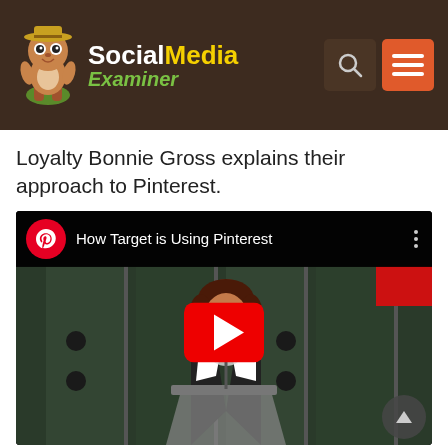Social Media Examiner
Loyalty Bonnie Gross explains their approach to Pinterest.
[Figure (screenshot): YouTube video embed titled 'How Target is Using Pinterest' showing a woman speaking at a podium with a YouTube play button overlay. The video has a Pinterest logo icon and title in the top bar.]